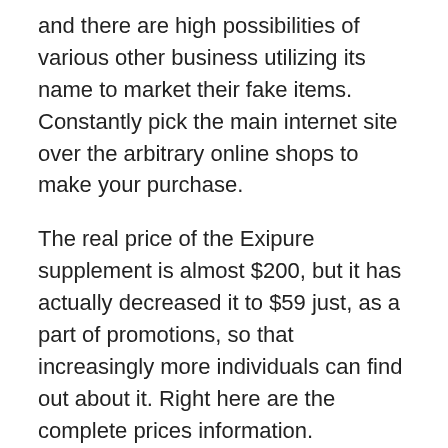and there are high possibilities of various other business utilizing its name to market their fake items. Constantly pick the main internet site over the arbitrary online shops to make your purchase.
The real price of the Exipure supplement is almost $200, but it has actually decreased it to $59 just, as a part of promotions, so that increasingly more individuals can find out about it. Right here are the complete prices information.
Obtain one container of Exipure (30 day supply) for $59.00 just (Plus shipment charges).
Obtain 3 containers of Exipure (90 days supply) for $49.00 per container (Plus